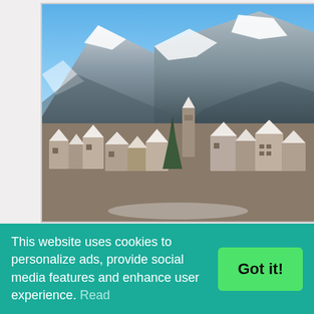[Figure (photo): Winter scene of an Italian mountain town with snow-covered rooftops and a church tower, set against snow-dusted mountain slopes under a blue sky.]
The coldest season is winter, and this is not a reason to stay at home or at the hotel. Winter in Italy is celebrated the following holidays, to
This website uses cookies to personalize ads, provide social media features and enhance user experience. Read